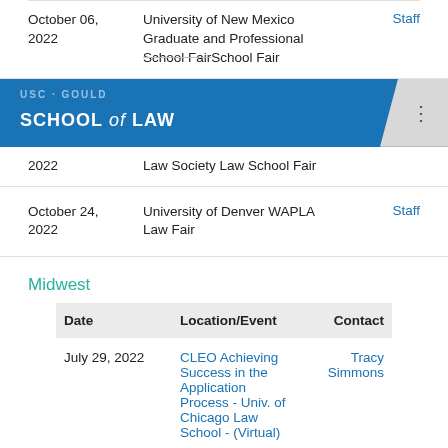| Date | Location/Event | Contact |
| --- | --- | --- |
| October 06, 2022 | University of New Mexico Graduate and Professional School Fair | Staff |
[Figure (other): USC School of Law navigation bar with blue background and menu dots]
| Date | Location/Event | Contact |
| --- | --- | --- |
| 2022 | Law Society Law School Fair |  |
| October 24, 2022 | University of Denver WAPLA Law Fair | Staff |
Midwest
| Date | Location/Event | Contact |
| --- | --- | --- |
| July 29, 2022 | CLEO Achieving Success in the Application Process - Univ. of Chicago Law School - (Virtual) | Tracy Simmons |
| July 30, 2022 | CLEO Achieving Success in the | Tracy |